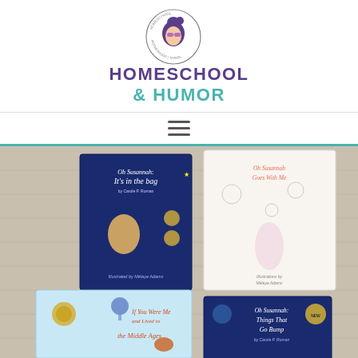[Figure (logo): Circular logo with illustrated woman face wearing sunglasses with text around the circle reading HOMESCHOOL | MOTHERHOOD | TRAVEL]
HOMESCHOOL & HUMOR
[Figure (other): Hamburger navigation menu icon (three horizontal lines)]
[Figure (photo): Photo of four children's books laid on a wooden surface: 'Oh Susannah: It's in the bag' (dark blue cover), 'Oh Susannah: Goes With Me' (white illustrated cover), 'If You Were Me and Lived in the Middle Ages' (light blue cover), and 'Oh Susannah: Things That Go Bump' (dark blue cover)]